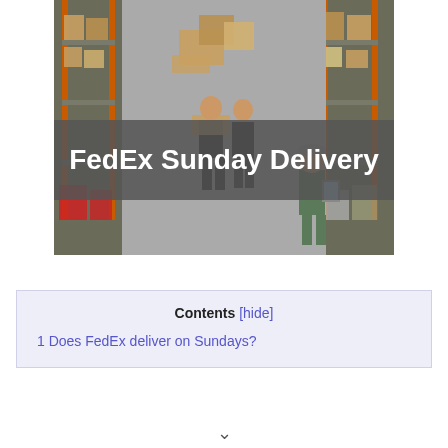[Figure (photo): Aerial/overhead view of a warehouse with shelving racks stocked with boxes, workers walking through aisles, and a grey banner overlay reading 'FedEx Sunday Delivery' in white text.]
Contents [hide]
1 Does FedEx deliver on Sundays?
1 Does FedEx deliver on Sundays?